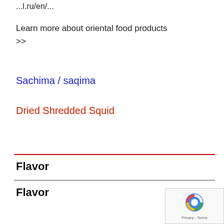...l.ru/en/...
Learn more about oriental food products >>
Sachima / saqima
Dried Shredded Squid
Flavor
Flavor